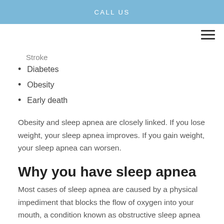CALL US
Stroke
Diabetes
Obesity
Early death
Obesity and sleep apnea are closely linked. If you lose weight, your sleep apnea improves. If you gain weight, your sleep apnea can worsen.
Why you have sleep apnea
Most cases of sleep apnea are caused by a physical impediment that blocks the flow of oxygen into your mouth, a condition known as obstructive sleep apnea (OSA). Most of the 22 million adults and children in the